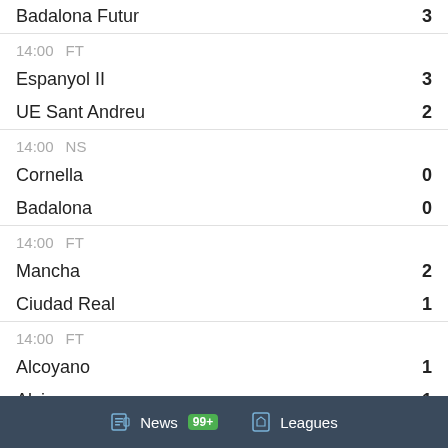Badalona Futur  3
14:00  FT
Espanyol II  3
UE Sant Andreu  2
14:00  NS
Cornella  0
Badalona  0
14:00  FT
Mancha  2
Ciudad Real  1
14:00  FT
Alcoyano  1
Alzira  1
14:30  FT
News  99+  Leagues